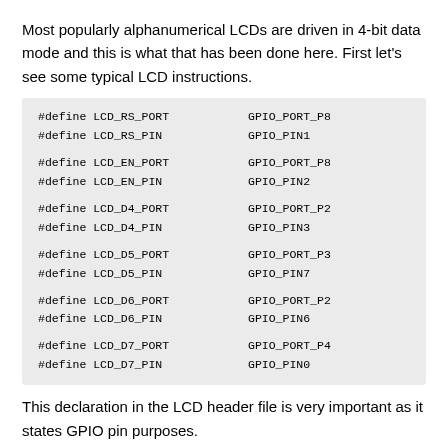Most popularly alphanumerical LCDs are driven in 4-bit data mode and this is what that has been done here. First let's see some typical LCD instructions.
[Figure (screenshot): Code block showing #define statements for LCD RS, EN, D4, D5, D6, D7 PORT and PIN mappings to GPIO ports and pins]
This declaration in the LCD header file is very important as it states GPIO pin purposes.
Initialization of the LCD is done by going through the steps